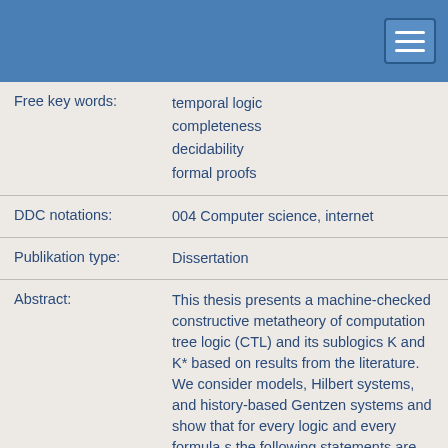| Free key words: | temporal logic
completeness
decidability
formal proofs |
| DDC notations: | 004 Computer science, internet |
| Publikation type: | Dissertation |
| Abstract: | This thesis presents a machine-checked constructive metatheory of computation tree logic (CTL) and its sublogics K and K* based on results from the literature. We consider models, Hilbert systems, and history-based Gentzen systems and show that for every logic and every formula s the following statements are decidable and equivalent: s is true in all models, s is provable in the Hilbert system, and s is provable in the Gentzen system. We base our proofs on |